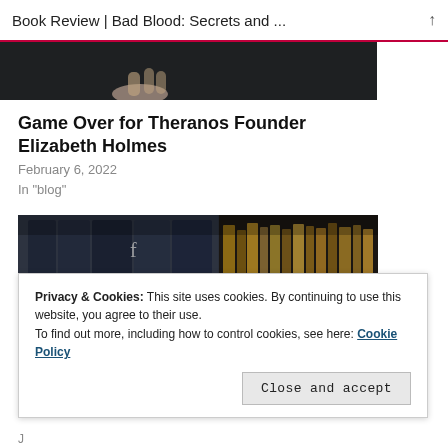Book Review | Bad Blood: Secrets and ...
[Figure (photo): Partial photo of a dark background with a hand visible at bottom, cropped at the top of the page]
Game Over for Theranos Founder Elizabeth Holmes
February 6, 2022
In "blog"
[Figure (photo): Photo of a classical marble bust sculpture in front of large books with letters visible (h, f, e), alongside shelves of old hardcover books]
Privacy & Cookies: This site uses cookies. By continuing to use this website, you agree to their use.
To find out more, including how to control cookies, see here: Cookie Policy